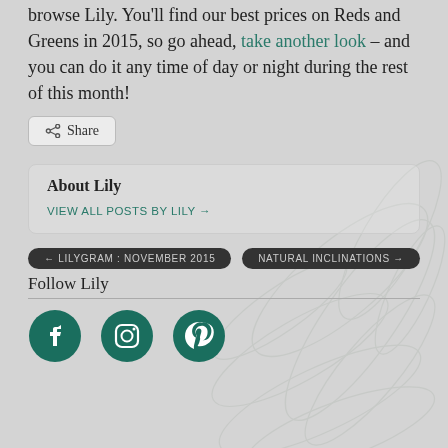browse Lily. You'll find our best prices on Reds and Greens in 2015, so go ahead, take another look – and you can do it any time of day or night during the rest of this month!
Share
About Lily
VIEW ALL POSTS BY LILY →
← LILYGRAM : NOVEMBER 2015
NATURAL INCLINATIONS →
Follow Lily
[Figure (illustration): Three social media icons: Facebook, Instagram, Pinterest in dark teal color]